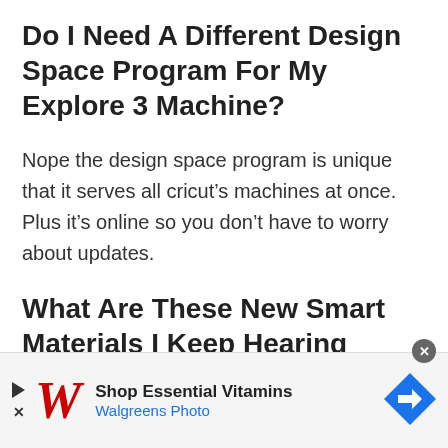Do I Need A Different Design Space Program For My Explore 3 Machine?
Nope the design space program is unique that it serves all cricut’s machines at once. Plus it’s online so you don’t have to worry about updates.
What Are These New Smart Materials I Keep Hearing About The Explore 3 Machine?
[Figure (other): Advertisement banner for Walgreens Photo - Shop Essential Vitamins, with Walgreens logo and navigation icon]